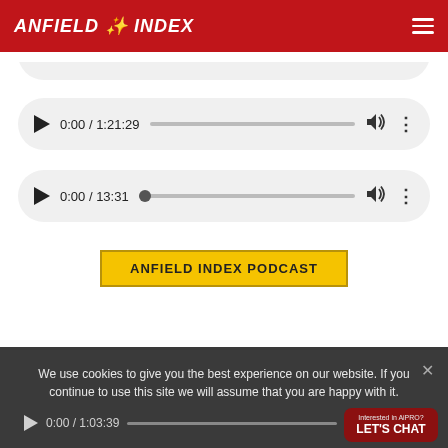ANFIELD INDEX
[Figure (screenshot): Audio player showing 0:00 / 1:21:29 with play button, progress bar, volume and menu icons]
[Figure (screenshot): Audio player showing 0:00 / 13:31 with play button, progress bar dot, volume and menu icons]
ANFIELD INDEX PODCAST
We use cookies to give you the best experience on our website. If you continue to use this site we will assume that you are happy with it.
OK
[Figure (screenshot): Audio player showing 0:00 / 1:03:39 with play button, progress bar, volume and menu icons]